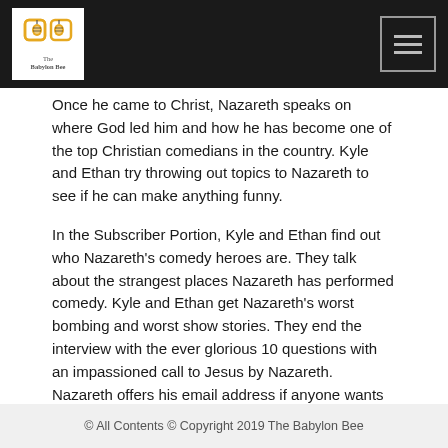The Babylon Bee
Once he came to Christ, Nazareth speaks on where God led him and how he has become one of the top Christian comedians in the country. Kyle and Ethan try throwing out topics to Nazareth to see if he can make anything funny.
In the Subscriber Portion, Kyle and Ethan find out who Nazareth's comedy heroes are. They talk about the strangest places Nazareth has performed comedy. Kyle and Ethan get Nazareth's worst bombing and worst show stories. They end the interview with the ever glorious 10 questions with an impassioned call to Jesus by Nazareth. Nazareth offers his email address if anyone wants to ask any questions about coming to Jesus: Naz@nazarethusa.com.
© All Contents © Copyright 2019 The Babylon Bee